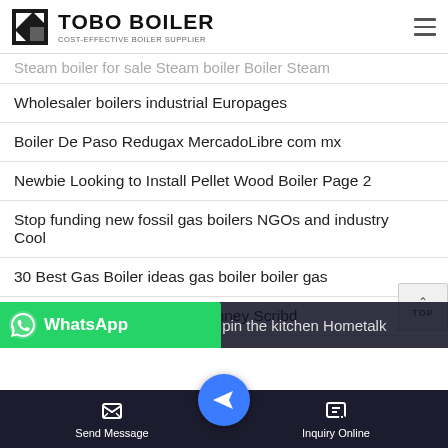TOBO BOILER – COST-EFFECTIVE BOILER SUPPLIER
Steam boiler for sale Steam boiler Boiler Steam
Wholesaler boilers industrial Europages
Boiler De Paso Redugax MercadoLibre com mx
Newbie Looking to Install Pellet Wood Boiler Page 2
Stop funding new fossil gas boilers NGOs and industry Cool
30 Best Gas Boiler ideas gas boiler boiler gas
PPE Coal Times 3 Boiler Chimney Scribd
…r pi… in the kitchen Hometalk
Send Message | Inquiry Online